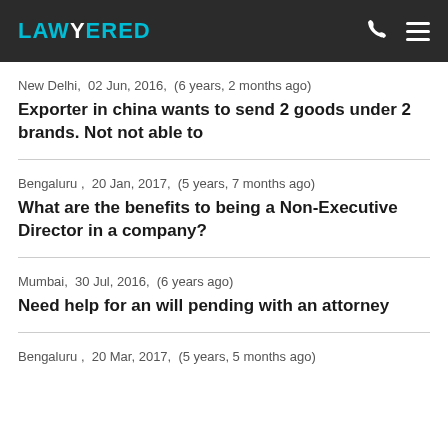LAWYERED
New Delhi,  02 Jun, 2016,  (6 years, 2 months ago)
Exporter in china wants to send 2 goods under 2 brands. Not not able to
Bengaluru ,  20 Jan, 2017,  (5 years, 7 months ago)
What are the benefits to being a Non-Executive Director in a company?
Mumbai,  30 Jul, 2016,  (6 years ago)
Need help for an will pending with an attorney
Bengaluru ,  20 Mar, 2017,  (5 years, 5 months ago)